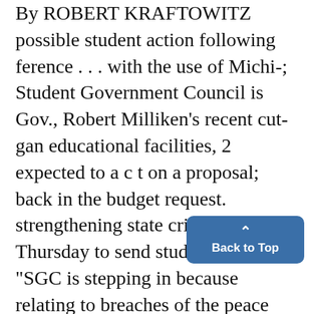By ROBERT KRAFTOWITZ possible student action following ference . . . with the use of Michi-; Student Government Council is Gov., Robert Milliken's recent cut- gan educational facilities, 2 expected to a c t on a proposal; back in the budget request. strengthening state criminal laws Thursday to send student repre- "SGC is stepping in because relating to breaches of the peace sentatives to Lansing. students most by the on the campus . . . ) the role of